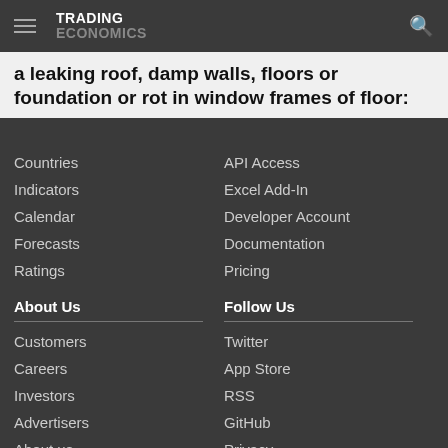TRADING ECONOMICS
a leaking roof, damp walls, floors or foundation or rot in window frames of floor:
Countries
Indicators
Calendar
Forecasts
Ratings
API Access
Excel Add-In
Developer Account
Documentation
Pricing
About Us
Follow Us
Customers
Careers
Investors
Advertisers
About us
Twitter
App Store
RSS
GitHub
Privacy
Copyright ©2022 TRADING ECONOMICS
All Rights Reserved